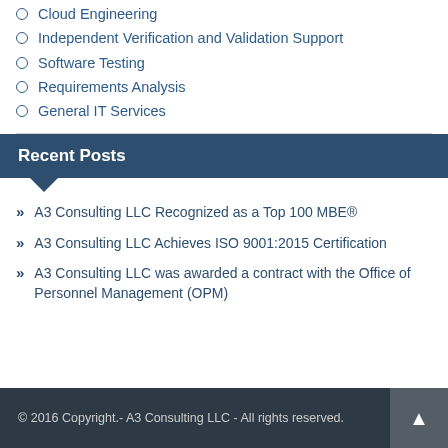Cloud Engineering
Independent Verification and Validation Support
Software Testing
Requirements Analysis
General IT Services
Recent Posts
A3 Consulting LLC Recognized as a Top 100 MBE®
A3 Consulting LLC Achieves ISO 9001:2015 Certification
A3 Consulting LLC was awarded a contract with the Office of Personnel Management (OPM)
© 2016 Copyright.- A3 Consulting LLC - All rights reserved.